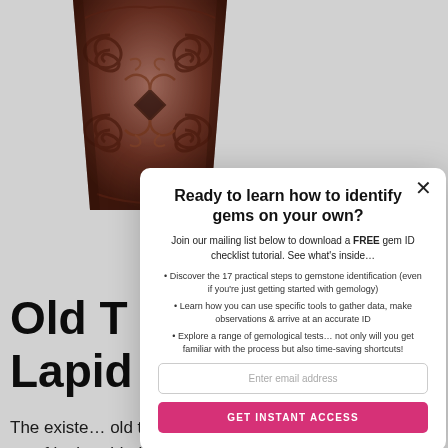[Figure (photo): Carved wooden artifact with spiral/koru patterns, brownish-red tones, trapezoidal shape]
Old T… Lapid…
The existe… old the art of lapid… idaries had conq… Drilling, polishing a… e work
Ready to learn how to identify gems on your own?
Join our mailing list below to download a FREE gem ID checklist tutorial. See what's inside…
Discover the 17 practical steps to gemstone identification (even if you're just getting started with gemology)
Learn how you can use specific tools to gather data, make observations & arrive at an accurate ID
Explore a range of gemological tests… not only will you get familiar with the process but also time-saving shortcuts!
Enter email address
GET INSTANT ACCESS